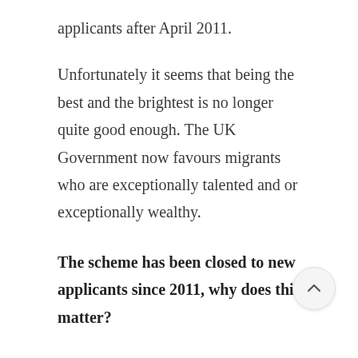applicants after April 2011.
Unfortunately it seems that being the best and the brightest is no longer quite good enough. The UK Government now favours migrants who are exceptionally talented and or exceptionally wealthy.
The scheme has been closed to new applicants since 2011, why does this matter?
Migrants who have had over 180 days of absences from the UK in the last year may not